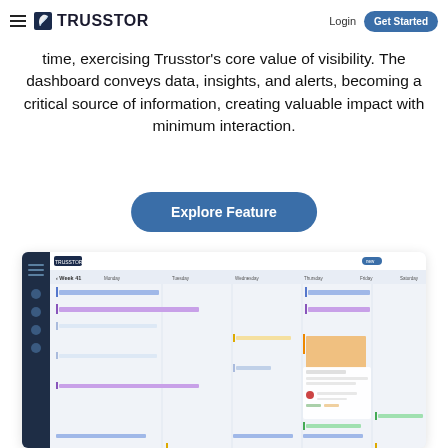Trusstor — Login | Get Started
time, exercising Trusstor's core value of visibility. The dashboard conveys data, insights, and alerts, becoming a critical source of information, creating valuable impact with minimum interaction.
Explore Feature
[Figure (screenshot): Screenshot of the Trusstor dashboard showing a weekly calendar/schedule view with colored task bars across multiple days (Monday through Saturday), with a dark left sidebar and column headers for each day of the week.]